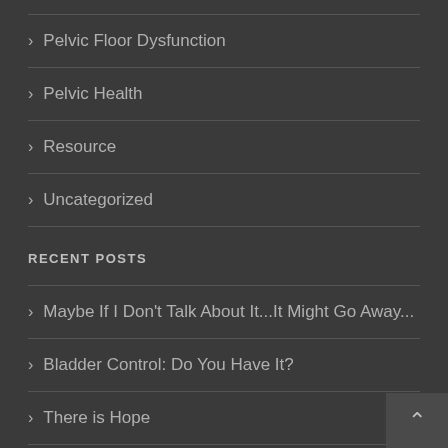Pelvic Floor Dysfunction
Pelvic Health
Resource
Uncategorized
RECENT POSTS
Maybe If I Don't Talk About It...It Might Go Away...
Bladder Control: Do You Have It?
There is Hope
What to Expect on Your First Visit to Desert PT &